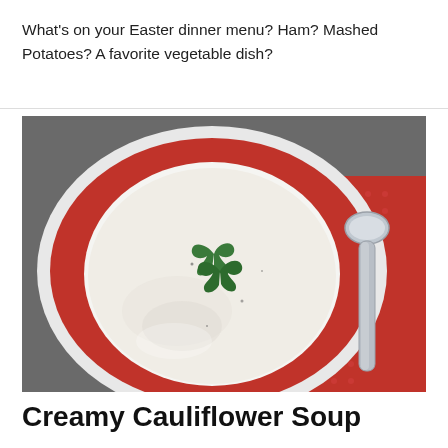What's on your Easter dinner menu? Ham? Mashed Potatoes? A favorite vegetable dish?
[Figure (photo): A bowl of creamy white soup garnished with two sprigs of green parsley, served in a red soup bowl on a red plate. A silver spoon rests on a red patterned placemat to the right.]
Creamy Cauliflower Soup